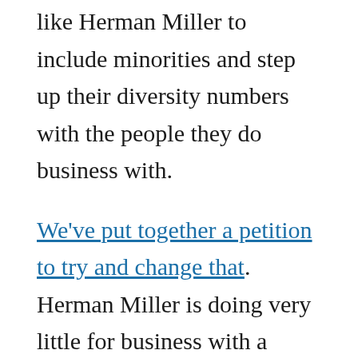like Herman Miller to include minorities and step up their diversity numbers with the people they do business with.
We've put together a petition to try and change that. Herman Miller is doing very little for business with a more diverse crowd of dealers. It can be nice if you helped us change it.
We think Pride Month is the perfect excuse to increase the visibility of our petition and